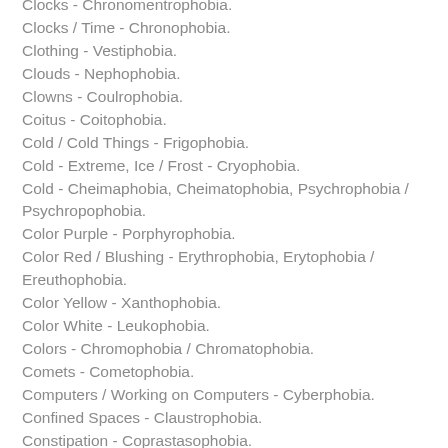Clocks - Chronomentrophobia.
Clocks / Time - Chronophobia.
Clothing - Vestiphobia.
Clouds - Nephophobia.
Clowns - Coulrophobia.
Coitus - Coitophobia.
Cold / Cold Things - Frigophobia.
Cold - Extreme, Ice / Frost - Cryophobia.
Cold - Cheimaphobia, Cheimatophobia, Psychrophobia / Psychropophobia.
Color Purple - Porphyrophobia.
Color Red / Blushing - Erythrophobia, Erytophobia / Ereuthophobia.
Color Yellow - Xanthophobia.
Color White - Leukophobia.
Colors - Chromophobia / Chromatophobia.
Comets - Cometophobia.
Computers / Working on Computers - Cyberphobia.
Confined Spaces - Claustrophobia.
Constipation - Coprastasophobia.
Contamination, Dirt / Infection - Molysmophobia / Molysomophobia.